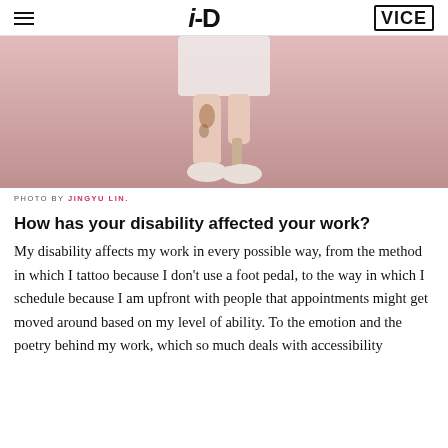i-D | VICE
[Figure (photo): Cropped photo of a person from waist down standing on a pink background, wearing a white skirt and chunky white sneakers, with a prosthetic leg visible and tattoos on one leg.]
PHOTO BY JINGYU LIN.
How has your disability affected your work?
My disability affects my work in every possible way, from the method in which I tattoo because I don't use a foot pedal, to the way in which I schedule because I am upfront with people that appointments might get moved around based on my level of ability. To the emotion and the poetry behind my work, which so much deals with accessibility